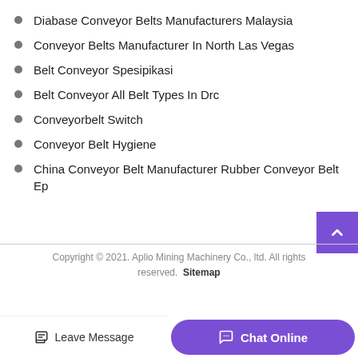Diabase Conveyor Belts Manufacturers Malaysia
Conveyor Belts Manufacturer In North Las Vegas
Belt Conveyor Spesipikasi
Belt Conveyor All Belt Types In Drc
Conveyorbelt Switch
Conveyor Belt Hygiene
China Conveyor Belt Manufacturer Rubber Conveyor Belt Ep
Copyright © 2021. Aplio Mining Machinery Co., ltd. All rights reserved. Sitemap